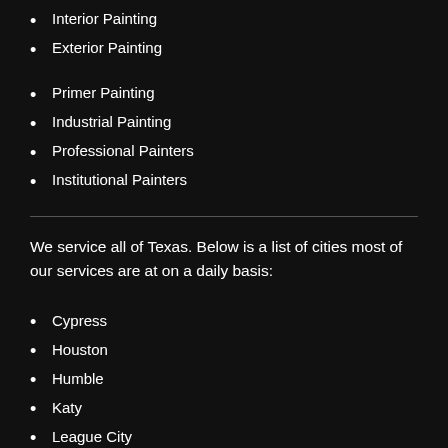Interior Painting
Exterior Painting
Primer Painting
Industrial Painting
Professional Painters
Institutional Painters
We service all of Texas. Below is a list of cities most of our services are at on a daily basis:
Cypress
Houston
Humble
Katy
League City
Missouri City